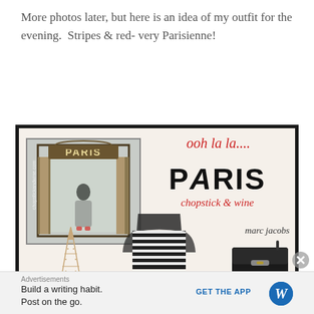More photos later, but here is an idea of my outfit for the evening.  Stripes & red- very Parisienne!
[Figure (photo): A collage-style fashion image with a Paris-themed background. Left side shows a photo of a person in front of a 'PARIS' gate/arch decoration. Right side has decorative text reading 'ooh la la.... PARIS chopstick & wine' in red cursive and black bold fonts. Bottom shows an Eiffel tower figurine, a black and white striped mesh top garment, Marc Jacobs text, and a black crossbody bag.]
Advertisements
Build a writing habit.
Post on the go.
GET THE APP